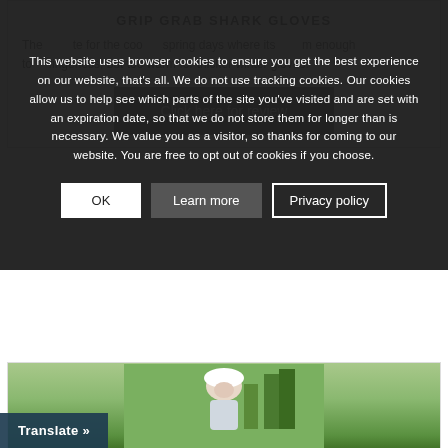This website uses browser cookies to ensure you get the best experience on our website, that's all. We do not use tracking cookies. Our cookies allow us to help see which parts of the site you've visited and are set with an expiration date, so that we do not store them for longer than is necessary. We value you as a visitor, so thanks for coming to our website. You are free to opt out of cookies if you choose.
OK
Learn more
Privacy policy
GRIP GRAB SHARK GLOVES
The ... te for the coo... spring days where its ... m enough to ... fingerless, but too warm for thicker winter gloves.
Click here for review
[Figure (photo): Cyclist wearing white helmet, partly visible, with green forest background]
Translate »